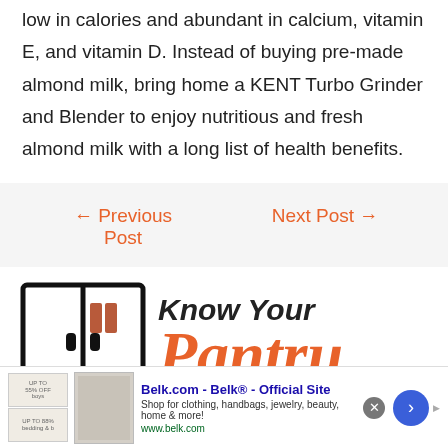low in calories and abundant in calcium, vitamin E, and vitamin D. Instead of buying pre-made almond milk, bring home a KENT Turbo Grinder and Blender to enjoy nutritious and fresh almond milk with a long list of health benefits.
← Previous Post
Next Post →
[Figure (illustration): Know Your Pantry logo with pantry cabinet icon and stylized text]
[Figure (screenshot): Belk.com advertisement banner: 'Belk.com - Belk® - Official Site. Shop for clothing, handbags, jewelry, beauty, home & more! www.belk.com']